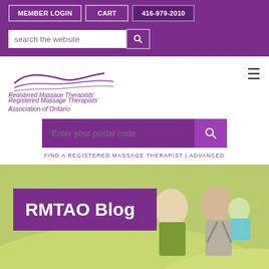MEMBER LOGIN  CART  416-979-2010
search the website
[Figure (logo): Registered Massage Therapists' Association of Ontario logo with curved swoosh lines in purple]
Enter your postal code
FIND A REGISTERED MASSAGE THERAPIST | ADVANCED
[Figure (photo): Banner image showing a family of three (woman in green jacket, bearded man carrying a baby in blue) outdoors on a green hillside, with a purple overlay box containing 'RMTAO Blog']
RMTAO Blog